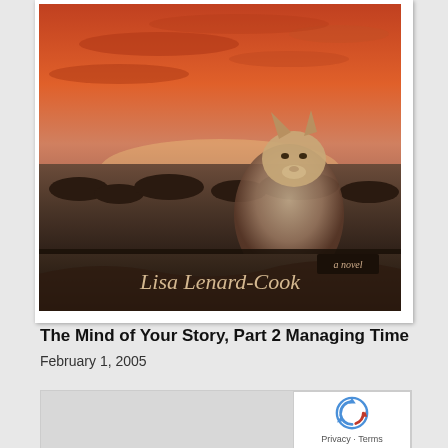[Figure (photo): Book cover of a novel by Lisa Lenard-Cook. Shows a coyote in a desert landscape with dramatic orange-red sunset sky. Text at bottom reads 'a novel' in a small dark box, and 'Lisa Lenard-Cook' in italic script font. Dark earthy tones with vivid sky.]
The Mind of Your Story, Part 2 Managing Time
February 1, 2005
[Figure (screenshot): Partial image cut off at bottom of page, grayish background visible. reCAPTCHA badge overlay in bottom-right corner with Privacy and Terms text.]